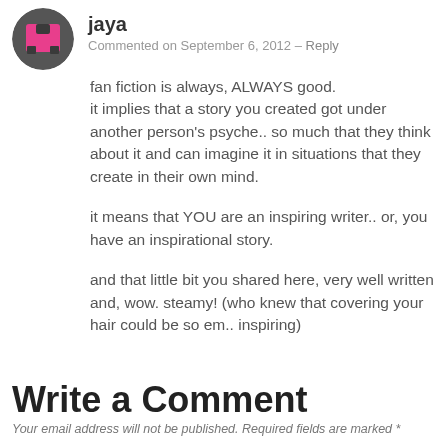jaya
Commented on September 6, 2012 – Reply
fan fiction is always, ALWAYS good.
it implies that a story you created got under another person's psyche.. so much that they think about it and can imagine it in situations that they create in their own mind.
it means that YOU are an inspiring writer.. or, you have an inspirational story.
and that little bit you shared here, very well written and, wow. steamy! (who knew that covering your hair could be so em.. inspiring)
Write a Comment
Your email address will not be published. Required fields are marked *